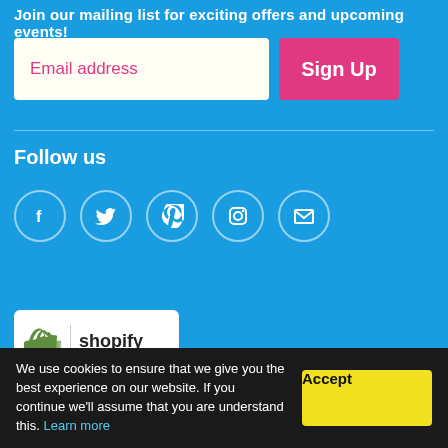Join our mailing list for exciting offers and upcoming events!
Email address
Sign Up
Follow us
[Figure (illustration): Social media icons: Facebook, Twitter, Pinterest, Instagram, Email in circle outlines]
[Figure (logo): Shopify Secure badge with green shopping bag logo]
Search | Shipping & Delivery | Returns Policy | Important Information & FAQs | Privacy Policy
We use cookies to ensure that we give you the best experience on our website. If you continue we'll assume that you are understand this. Learn more